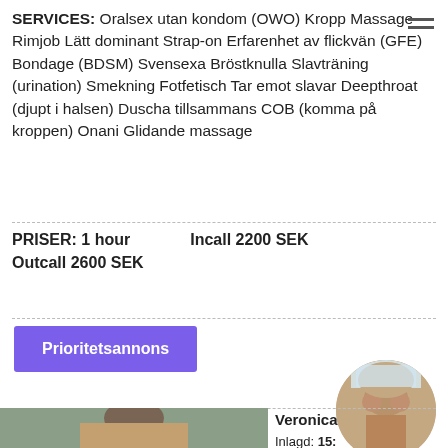SERVICES: Oralsex utan kondom (OWO) Kropp Massage Rimjob Lätt dominant Strap-on Erfarenhet av flickvän (GFE) Bondage (BDSM) Svensexa Bröstknulla Slavträning (urination) Smekning Fotfetisch Tar emot slavar Deepthroat (djupt i halsen) Duscha tillsammans COB (komma på kroppen) Onani Glidande massage
PRISER: 1 hour   Incall 2200 SEK
Outcall 2600 SEK
Prioritetsannons
Veronica
Inlagd: 15:...
Profil: 46227...
Verification: Incall/Outcall:
[Figure (photo): Photo of a person lying face down]
[Figure (photo): Circle thumbnail photo]